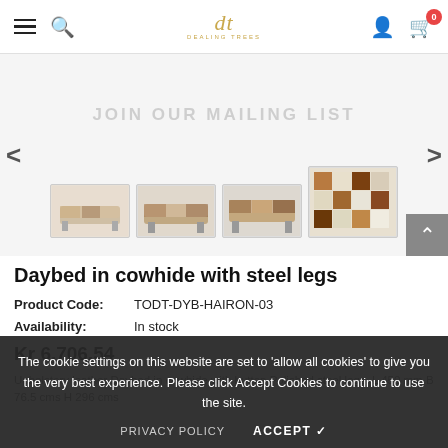Dealing Trees header with hamburger, search, logo (dt / DEALING TREES), user icon, cart (0)
[Figure (photo): Product image strip showing 4 thumbnail images of a daybed in cowhide with steel legs — various angles including top view of the patchwork cowhide pattern. Left and right navigation arrows. Back-to-top button at bottom right. Watermark text: JOIN OUR MAILING LIST]
Daybed in cowhide with steel legs
Product Code: TODT-DYB-HAIRON-03
Availability: In stock
Kr 6,706.54
Upholstery leather Daybed in cowhide with button Polished steel legs. L 450 mm B 76.5 cm H 296 cms
The cookie settings on this website are set to 'allow all cookies' to give you the very best experience. Please click Accept Cookies to continue to use the site.
PRIVACY POLICY   ACCEPT ✓